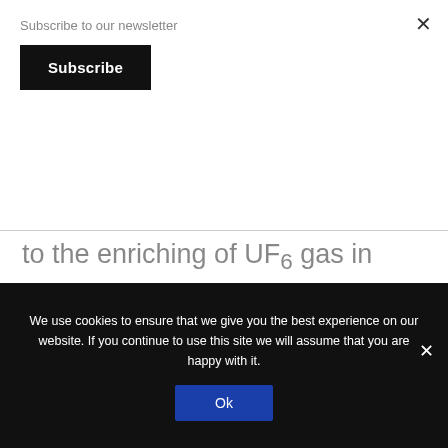Subscribe to our newsletter
Subscribe
to the enriching of UF6 gas in centrifuges will make it difficult for Iran to divert materials into a covert program without us knowing about it. So there are some very important achievements in the agreement.
We use cookies to ensure that we give you the best experience on our website. If you continue to use this site we will assume that you are happy with it.
Ok